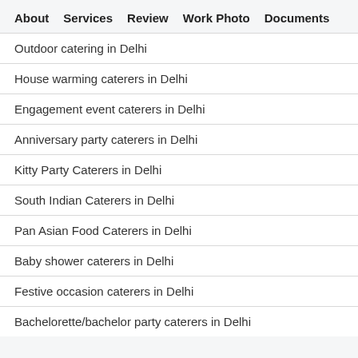About  Services  Review  Work Photo  Documents
Outdoor catering in Delhi
House warming caterers in Delhi
Engagement event caterers in Delhi
Anniversary party caterers in Delhi
Kitty Party Caterers in Delhi
South Indian Caterers in Delhi
Pan Asian Food Caterers in Delhi
Baby shower caterers in Delhi
Festive occasion caterers in Delhi
Bachelorette/bachelor party caterers in Delhi